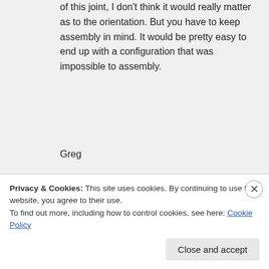of this joint, I don't think it would really matter as to the orientation. But you have to keep assembly in mind. It would be pretty easy to end up with a configuration that was impossible to assembly.
Greg
↳ Reply
briani on June 4, 2014 at 5:34 pm
Privacy & Cookies: This site uses cookies. By continuing to use this website, you agree to their use.
To find out more, including how to control cookies, see here: Cookie Policy